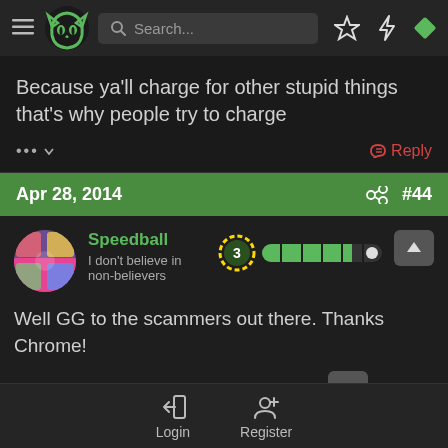Navigation bar with menu, logo, search, bookmarks, notifications, and gem icon
Because ya'll charge for other stupid things that's why people try to charge
... ▾   Reply
Apr 28, 2014   #44
Speedball
I don't believe in non-believers
Well GG to the scammers out there. Thanks Chrome!
Login   Register